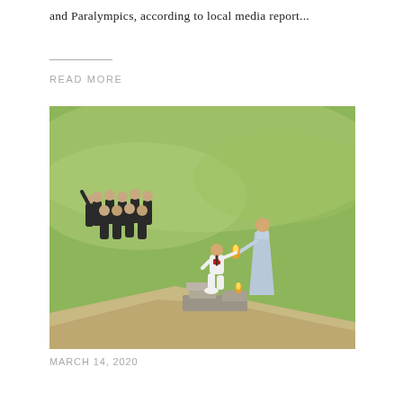and Paralympics, according to local media report...
READ MORE
[Figure (photo): Olympic torch lighting ceremony at ancient Greek site. A person kneeling in white athletic outfit receives the torch flame from a woman in a light blue classical Greek robe. Several people dressed in black stand in the background on a grassy hillside. A stone altar is visible in the foreground.]
MARCH 14, 2020